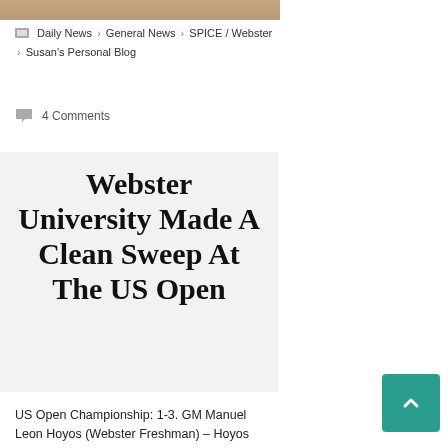[Figure (photo): Partial image visible at the top of the page]
Daily News > General News > SPICE / Webster > Susan's Personal Blog
4 Comments
Webster University Made A Clean Sweep At The US Open
US Open Championship: 1-3. GM Manuel Leon Hoyos (Webster Freshman) – Hoyos won the Armageddon playoff by defeating […]